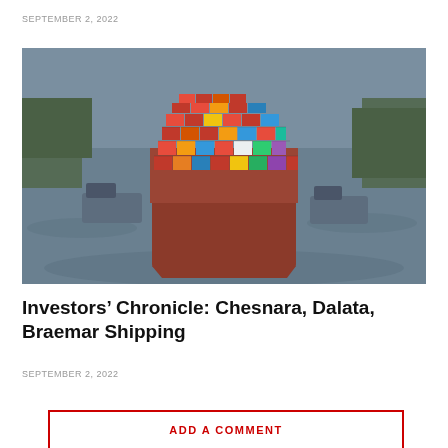SEPTEMBER 2, 2022
[Figure (photo): Aerial view of a large container ship loaded with colorful shipping containers navigating a river or canal, with tugboats alongside and green shoreline visible in the background.]
Investors’ Chronicle: Chesnara, Dalata, Braemar Shipping
SEPTEMBER 2, 2022
ADD A COMMENT